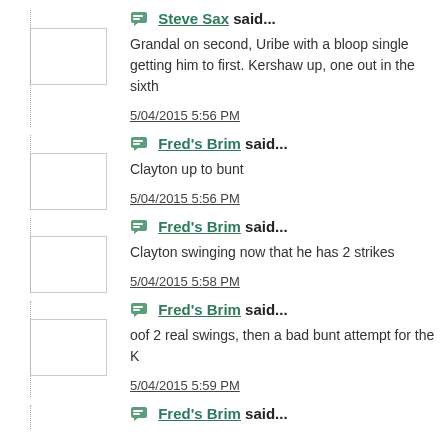Steve Sax said... Grandal on second, Uribe with a bloop single getting him to first. Kershaw up, one out in the sixth 5/04/2015 5:56 PM
Fred's Brim said... Clayton up to bunt 5/04/2015 5:56 PM
Fred's Brim said... Clayton swinging now that he has 2 strikes 5/04/2015 5:58 PM
Fred's Brim said... oof 2 real swings, then a bad bunt attempt for the K 5/04/2015 5:59 PM
Fred's Brim said...